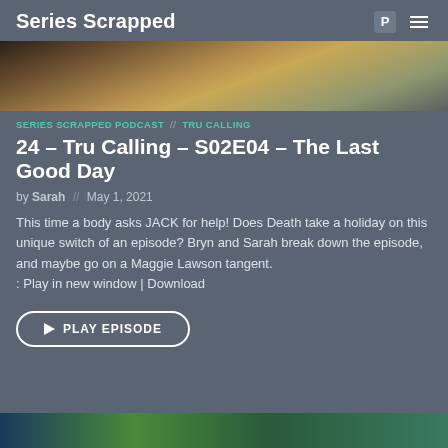Series Scrapped
[Figure (photo): Hero image showing people in outdoor clothing, partial torso view]
SERIES SCRAPPED PODCAST // TRU CALLING
24 – Tru Calling – S02E04 – The Last Good Day
by Sarah // May 1, 2021
This time a body asks JACK for help! Does Death take a holiday on this unique switch of an episode? Bryn and Sarah break down the episode, and maybe go on a Maggie Lawson tangent.
: Play in new window | Download
▶ PLAY EPISODE
[Figure (photo): Partial bottom image, colorful outdoor scene]